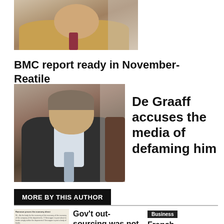[Figure (photo): Cropped photo of a man in a tan jacket, partially visible at top of page]
BMC report ready in November- Reatile
[Figure (photo): Photo of a heavyset man in a dark pinstripe suit and tie, seated in a brown leather chair]
De Graaff accuses the media of defaming him
MORE BY THIS AUTHOR
[Figure (photo): Thumbnail of a newspaper clipping with three men's faces]
Gov't out-sourcing was not a response
Business
French Ambassador preaches